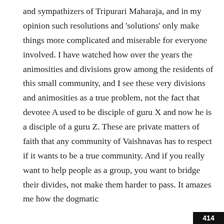and sympathizers of Tripurari Maharaja, and in my opinion such resolutions and 'solutions' only make things more complicated and miserable for everyone involved. I have watched how over the years the animosities and divisions grow among the residents of this small community, and I see these very divisions and animosities as a true problem, not the fact that devotee A used to be disciple of guru X and now he is a disciple of a guru Z. These are private matters of faith that any community of Vaishnavas has to respect if it wants to be a true community. And if you really want to help people as a group, you want to bridge their divides, not make them harder to pass. It amazes me how the dogmatic
414